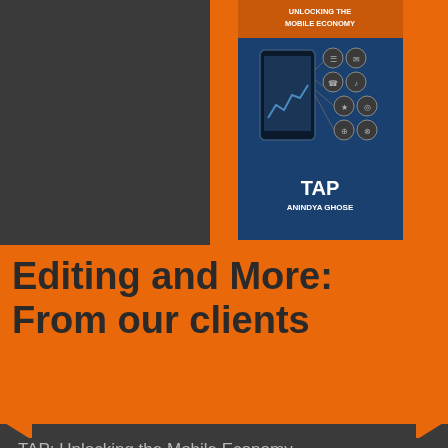[Figure (illustration): Book cover of TAP: Unlocking the Mobile Economy showing a smartphone with connected icons on a dark blue background, against an orange header background]
Editing and More:
From our clients
TAP: Unlocking the Mobile Economy, by Anindya Ghose (MIT Press: 2017)
An immediate bestseller in several categories on Amazon, the author thanked the team at Present Tense LLC:
“I am thankful to … Frank Luby and Elana Duffy of Present Tense for editorial support and feedback.”
[Figure (photo): Partial photo of a person and orange section with text 'Step 2: Ma']